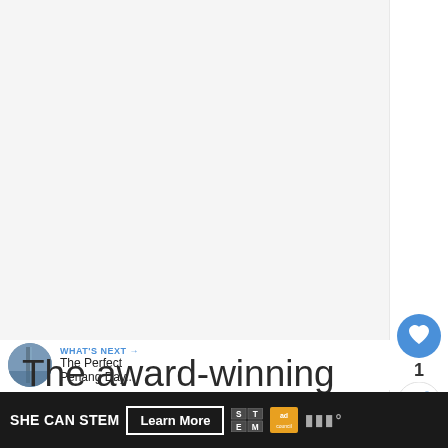[Figure (photo): Large white/light gray image placeholder area at the top of the page, presumably a hero image for an article about award-winning historical buildings.]
[Figure (other): Heart/like button — blue circular button with white heart icon]
1
[Figure (other): Share button — white circular button with share/plus icon]
[Figure (other): What's Next thumbnail — circular photo of a tall building/tower (Penang)]
WHAT'S NEXT → The Perfect Penang Day...
The award-winning historical b...
[Figure (other): Ad banner: SHE CAN STEM | Learn More | STEM logo | Ad Council logo | CNN logo]